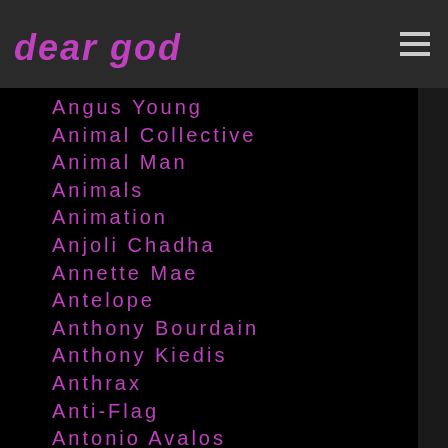dear god
Angus Young
Animal Collective
Animal Man
Animals
Animation
Anjoli Chadha
Annette Mae
Antelope
Anthony Bourdain
Anthony Kiedis
Anthrax
Anti-Flag
Antonio Avalos
Antonio Carlos Jobim
Anton Newcombe
AOC
A Perfect Circle